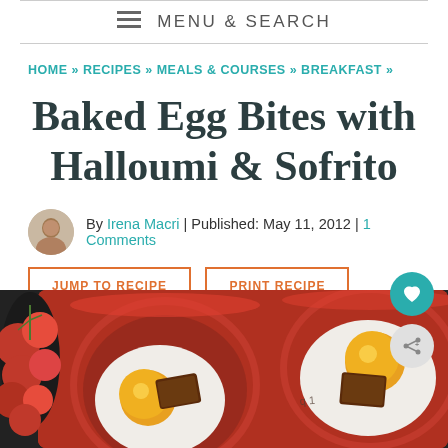MENU & SEARCH
HOME » RECIPES » MEALS & COURSES » BREAKFAST »
Baked Egg Bites with Halloumi & Sofrito
By Irena Macri | Published: May 11, 2012 | 1 Comments
JUMP TO RECIPE
PRINT RECIPE
[Figure (photo): Baked eggs in a red silicone muffin pan with cherry tomatoes, halloumi and sofrito]